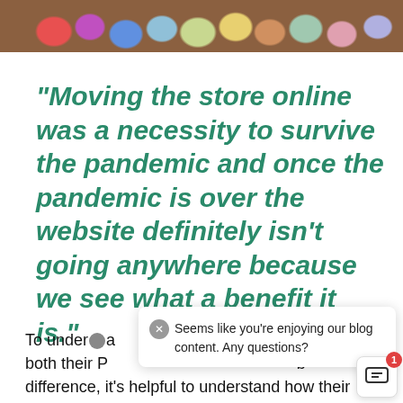[Figure (photo): Top strip of a photo showing colorful yarn pompoms or wool balls arranged on a wooden surface, visible colors include red, pink, purple, blue, teal, yellow, orange.]
"Moving the store online was a necessity to survive the pandemic and once the pandemic is over the website definitely isn't going anywhere because we see what a benefit it is."
To understand how both their P difference, it's helpful to understand how their